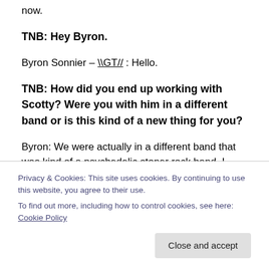now.
TNB: Hey Byron.
Byron Sonnier – \\GT// : Hello.
TNB: How did you end up working with Scotty? Were you with him in a different band or is this kind of a new thing for you?
Byron: We were actually in a different band that was kind of a psychedelic stoner rock band. I played guitar and sang. Scotty played lead guitar. It didn't last very long but.
Privacy & Cookies: This site uses cookies. By continuing to use this website, you agree to their use.
To find out more, including how to control cookies, see here: Cookie Policy